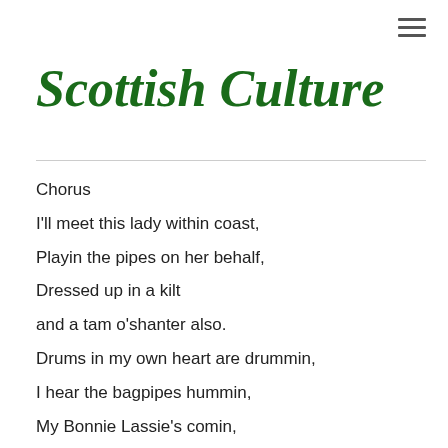Scottish Culture
Chorus
I'll meet this lady within coast,
Playin the pipes on her behalf,
Dressed up in a kilt
and a tam o'shanter also.
Drums in my own heart are drummin,
I hear the bagpipes hummin,
My Bonnie Lassie's comin,
Comin in my experience.